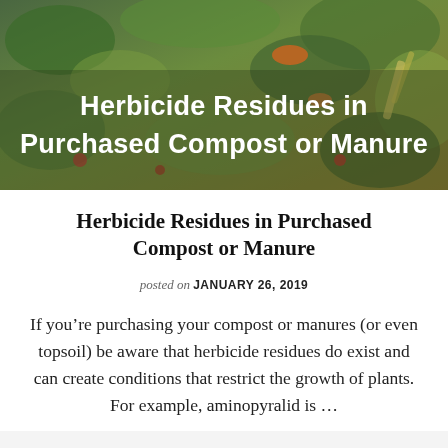[Figure (photo): Hero image of a pile of mixed vegetable compost/scraps with overlaid white bold text reading 'Herbicide Residues in Purchased Compost or Manure']
Herbicide Residues in Purchased Compost or Manure
posted on JANUARY 26, 2019
If you’re purchasing your compost or manures (or even topsoil) be aware that herbicide residues do exist and can create conditions that restrict the growth of plants. For example, aminopyralid is …